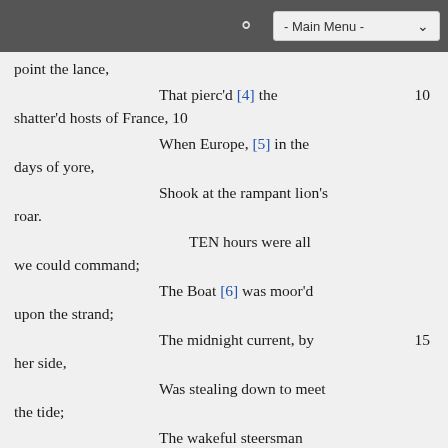- Main Menu -
point the lance,
That pierc'd [4] the shatter'd hosts of France, 10
When Europe, [5] in the days of yore,
Shook at the rampant lion's roar.
TEN hours were all we could command;
The Boat [6] was moor'd upon the strand;
The midnight current, by 15 her side,
Was stealing down to meet the tide;
The wakeful steersman ready lay,
To rouse us at the break of day; [7]
It camehow soon! and what